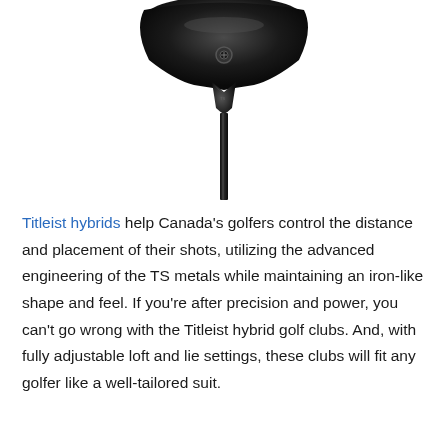[Figure (photo): Close-up photo of a Titleist hybrid golf club head and shaft against a white background, showing the black metallic club head from above with the hosel and shaft extending downward.]
Titleist hybrids help Canada's golfers control the distance and placement of their shots, utilizing the advanced engineering of the TS metals while maintaining an iron-like shape and feel. If you're after precision and power, you can't go wrong with the Titleist hybrid golf clubs. And, with fully adjustable loft and lie settings, these clubs will fit any golfer like a well-tailored suit.